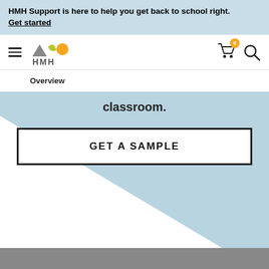HMH Support is here to help you get back to school right. Get started
[Figure (logo): HMH logo with hamburger menu, cart icon with badge showing 0, and search icon]
Overview
classroom.
GET A SAMPLE
[Figure (photo): Partial photo visible at bottom of page, appears to be people in a classroom setting]